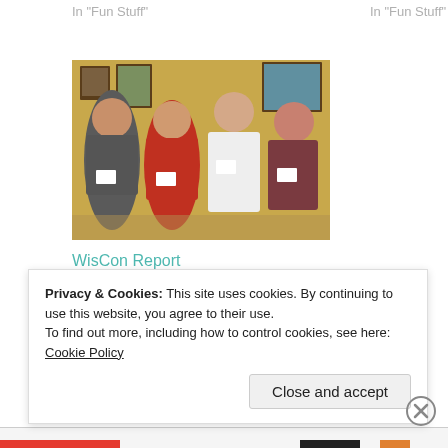In "Fun Stuff"
In "Fun Stuff"
[Figure (photo): Group photo of four people standing together indoors at what appears to be a conference or event.]
WisCon Report
May 30, 2014
In "Writing"
My So Called Life
Privacy & Cookies: This site uses cookies. By continuing to use this website, you agree to their use.
To find out more, including how to control cookies, see here: Cookie Policy
Close and accept